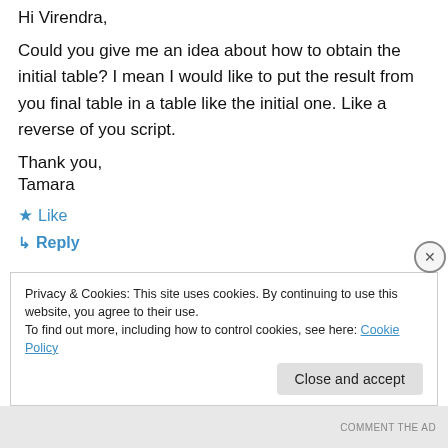Hi Virendra,
Could you give me an idea about how to obtain the initial table? I mean I would like to put the result from you final table in a table like the initial one. Like a reverse of you script.
Thank you,
Tamara
★ Like
↳ Reply
Privacy & Cookies: This site uses cookies. By continuing to use this website, you agree to their use.
To find out more, including how to control cookies, see here: Cookie Policy
Close and accept
COMMENT THE AD